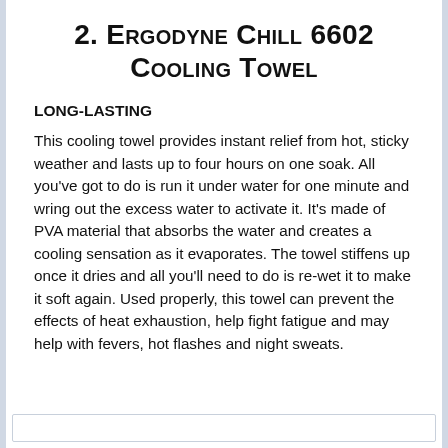2. Ergodyne Chill 6602 Cooling Towel
LONG-LASTING
This cooling towel provides instant relief from hot, sticky weather and lasts up to four hours on one soak. All you've got to do is run it under water for one minute and wring out the excess water to activate it. It's made of PVA material that absorbs the water and creates a cooling sensation as it evaporates. The towel stiffens up once it dries and all you'll need to do is re-wet it to make it soft again. Used properly, this towel can prevent the effects of heat exhaustion, help fight fatigue and may help with fevers, hot flashes and night sweats.